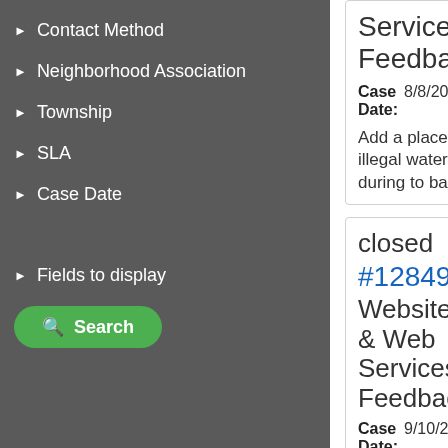Contact Method
Neighborhood Association
Township
SLA
Case Date
Fields to display
Search
Services Feedback
Case Date: 8/8/20
Add a place to report illegal water usage during to ban
closed #128496 Website & Web Services Feedback
Case Date: 9/10/2